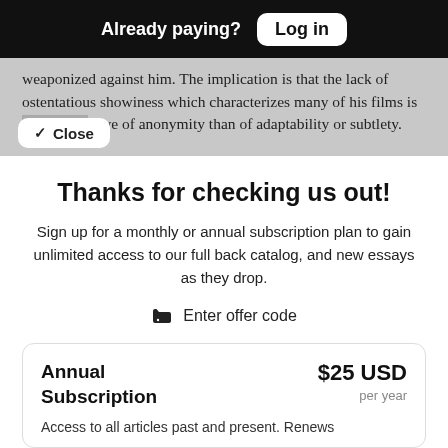Already paying? Log in
weaponized against him. The implication is that the lack of ostentatious showiness which characterizes many of his films is indicative of anonymity than of adaptability or subtlety.
Thanks for checking us out!
Sign up for a monthly or annual subscription plan to gain unlimited access to our full back catalog, and new essays as they drop.
Enter offer code
| Annual Subscription | $25 USD per year |
| --- | --- |
| Access to all articles past and present. Renews |  |